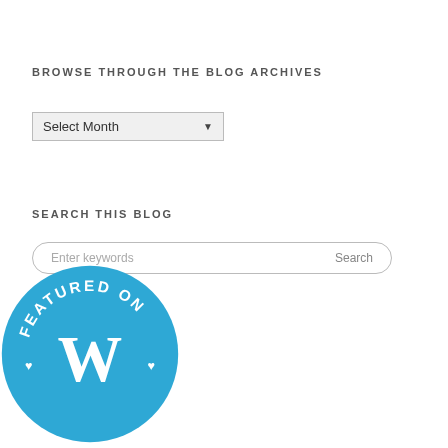BROWSE THROUGH THE BLOG ARCHIVES
[Figure (screenshot): A dropdown selector showing 'Select Month' with a downward arrow, styled as a form element with light gray background and border.]
SEARCH THIS BLOG
[Figure (screenshot): A rounded search bar with placeholder text 'Enter keywords' on the left and 'Search' button text on the right.]
[Figure (logo): A circular blue badge with white text reading 'FEATURED ON' at the top and a WordPress 'W' logo in the center with small heart icons on the sides.]